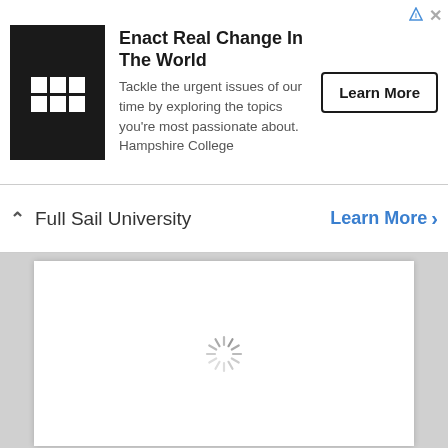[Figure (screenshot): Advertisement banner for Hampshire College featuring black square logo with white grid icon, bold headline 'Enact Real Change In The World', body text 'Tackle the urgent issues of our time by exploring the topics you're most passionate about. Hampshire College', and a 'Learn More' button with border.]
Full Sail University
Learn More >
[Figure (screenshot): Large white content box with a loading spinner (circular dashed/spoked wheel) centered inside it, set against a light gray background.]